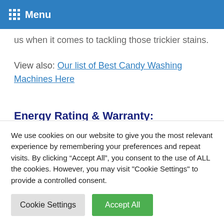Menu
us when it comes to tackling those trickier stains.
View also: Our list of Best Candy Washing Machines Here
Energy Rating & Warranty:
When it comes to Energy rating, this washing machine ticks all the boxes coming in at A+++ and
We use cookies on our website to give you the most relevant experience by remembering your preferences and repeat visits. By clicking “Accept All”, you consent to the use of ALL the cookies. However, you may visit "Cookie Settings" to provide a controlled consent.